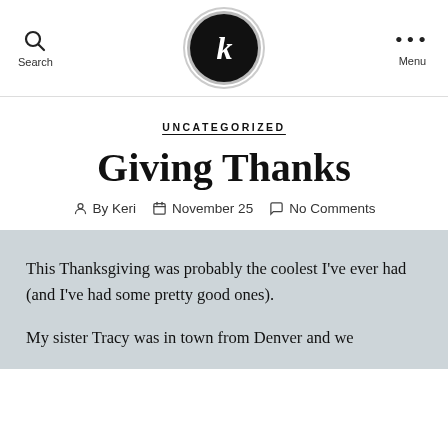Search | [logo K] | Menu
UNCATEGORIZED
Giving Thanks
By Keri  |  November 25  |  No Comments
This Thanksgiving was probably the coolest I've ever had (and I've had some pretty good ones).
My sister Tracy was in town from Denver and we